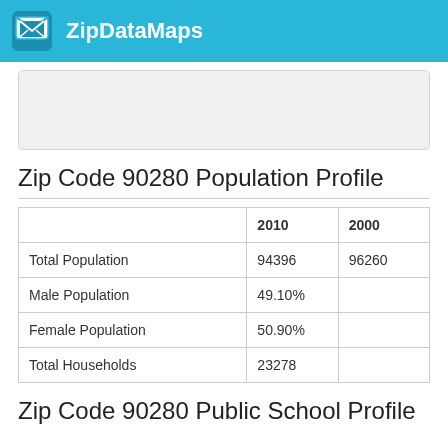ZipDataMaps
[Figure (map): Map placeholder area for zip code 90280]
Zip Code 90280 Population Profile
|  | 2010 | 2000 |
| --- | --- | --- |
| Total Population | 94396 | 96260 |
| Male Population | 49.10% |  |
| Female Population | 50.90% |  |
| Total Households | 23278 |  |
Zip Code 90280 Public School Profile